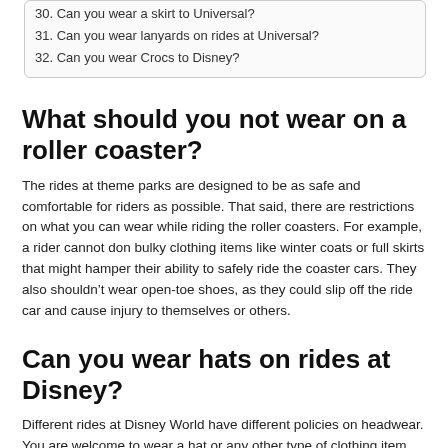30. Can you wear a skirt to Universal?
31. Can you wear lanyards on rides at Universal?
32. Can you wear Crocs to Disney?
What should you not wear on a roller coaster?
The rides at theme parks are designed to be as safe and comfortable for riders as possible. That said, there are restrictions on what you can wear while riding the roller coasters. For example, a rider cannot don bulky clothing items like winter coats or full skirts that might hamper their ability to safely ride the coaster cars. They also shouldn’t wear open-toe shoes, as they could slip off the ride car and cause injury to themselves or others.
Can you wear hats on rides at Disney?
Different rides at Disney World have different policies on headwear. You are welcome to wear a hat or any other type of clothing item that